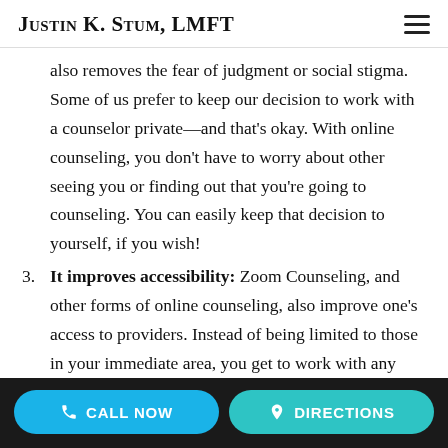Justin K. Stum, LMFT
also removes the fear of judgment or social stigma. Some of us prefer to keep our decision to work with a counselor private—and that's okay. With online counseling, you don't have to worry about other seeing you or finding out that you're going to counseling. You can easily keep that decision to yourself, if you wish!
3. It improves accessibility: Zoom Counseling, and other forms of online counseling, also improve one's access to providers. Instead of being limited to those in your immediate area, you get to work with any counselor or therapist who is licensed in your state! This allows you to find the provider with the skills, experience, training,
CALL NOW   DIRECTIONS